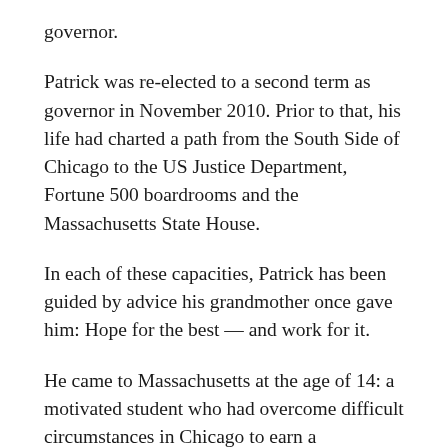governor.
Patrick was re-elected to a second term as governor in November 2010. Prior to that, his life had charted a path from the South Side of Chicago to the US Justice Department, Fortune 500 boardrooms and the Massachusetts State House.
In each of these capacities, Patrick has been guided by advice his grandmother once gave him: Hope for the best — and work for it.
He came to Massachusetts at the age of 14: a motivated student who had overcome difficult circumstances in Chicago to earn a scholarship to the prestigious Milton Academy. The young Deval Patrick saw the scholarship as an opportunity to